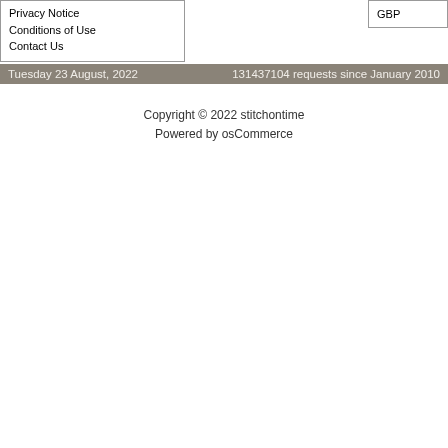Privacy Notice
Conditions of Use
Contact Us
GBP
Tuesday 23 August, 2022    131437104 requests since January 2010
Copyright © 2022 stitchontime
Powered by osCommerce